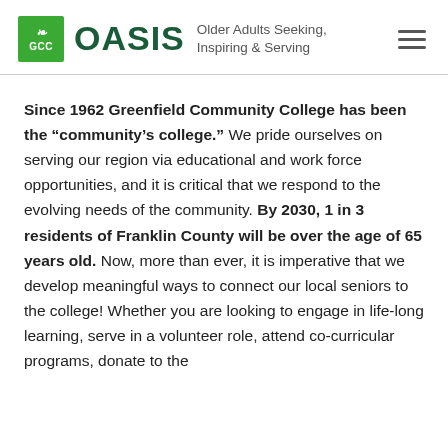GCC OASIS Older Adults Seeking, Inspiring & Serving
Since 1962 Greenfield Community College has been the “community’s college.” We pride ourselves on serving our region via educational and work force opportunities, and it is critical that we respond to the evolving needs of the community. By 2030, 1 in 3 residents of Franklin County will be over the age of 65 years old. Now, more than ever, it is imperative that we develop meaningful ways to connect our local seniors to the college! Whether you are looking to engage in life-long learning, serve in a volunteer role, attend co-curricular programs, donate to the